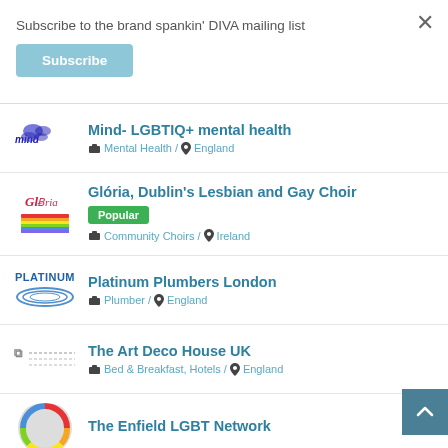Subscribe to the brand spankin' DIVA mailing list
Subscribe
Mind- LGBTIQ+ mental health
Mental Health / England
Glória, Dublin's Lesbian and Gay Choir
Popular
Community Choirs / Ireland
Platinum Plumbers London
Plumber / England
The Art Deco House UK
Bed & Breakfast, Hotels / England
The Enfield LGBT Network